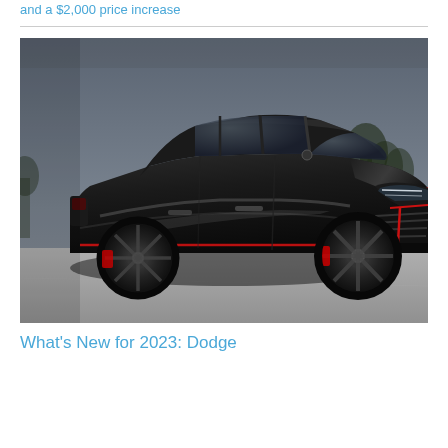and a $2,000 price increase
[Figure (photo): A black Dodge sports car/crossover with red accent stripes, photographed from a front three-quarter angle on a concrete surface with a grey sky background. The vehicle has aggressive styling with large black wheels and red brake calipers.]
What's New for 2023: Dodge